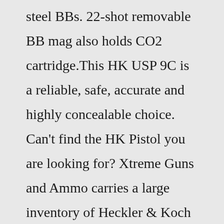steel BBs. 22-shot removable BB mag also holds CO2 cartridge.This HK USP 9C is a reliable, safe, accurate and highly concealable choice. Can't find the HK Pistol you are looking for? Xtreme Guns and Ammo carries a large inventory of Heckler & Koch Pistols in Stock at all times. Feel Free to chat with us online or call 832-363-3783 for all of your HK questions and needs. HK USP 9